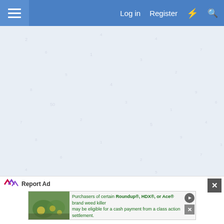Log in   Register   ⚡   🔍
[Figure (screenshot): Faint watermark/background content area with light blue-gray background]
Report Ad
◄◄   ◄ Prev   2 of 2
Report Ad
[Figure (photo): Advertisement banner: Purchasers of certain Roundup®, HDX®, or Ace® brand weed killer may be eligible for a cash payment from a class action settlement. Visit www.WeedKillerAdSettlement.com to learn more.]